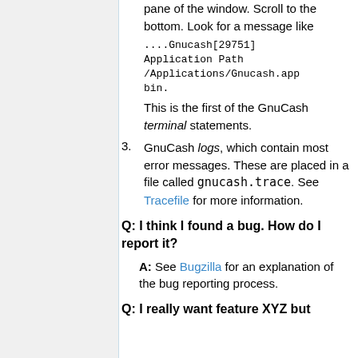pane of the window. Scroll to the bottom. Look for a message like ....Gnucash[29751] Application Path /Applications/Gnucash.app bin. This is the first of the GnuCash terminal statements.
3. GnuCash logs, which contain most error messages. These are placed in a file called gnucash.trace. See Tracefile for more information.
Q: I think I found a bug. How do I report it?
A: See Bugzilla for an explanation of the bug reporting process.
Q: I really want feature XYZ but